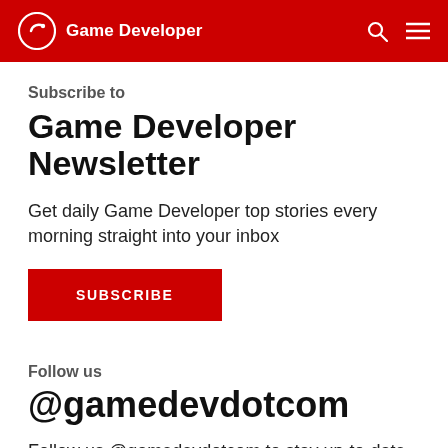Game Developer
Subscribe to
Game Developer Newsletter
Get daily Game Developer top stories every morning straight into your inbox
SUBSCRIBE
Follow us
@gamedevdotcom
Follow us @gamedevdotcom to stay up-to-date with the latest news & insider information about events & more